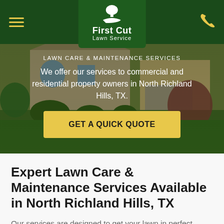First Cut Lawn Service
[Figure (photo): Background photo of a well-manicured residential lawn and house with green landscaping]
LAWN CARE & MAINTENANCE SERVICES
We offer our services to commercial and residential property owners in North Richland Hills, TX.
GET A QUICK QUOTE
Expert Lawn Care & Maintenance Services Available in North Richland Hills, TX
Our services are designed to get your lawn in perfect shape and keep it that way.